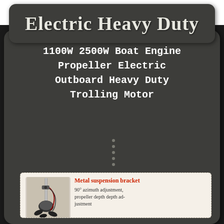Electric Heavy Duty
1100W 2500W Boat Engine Propeller Electric Outboard Heavy Duty Trolling Motor
[Figure (photo): Product photo of an electric outboard trolling motor with metal suspension bracket, showing the motor assembly with propeller and mounting hardware]
Metal suspension bracket
90° azimuth adjustment, propeller depth depth adjustment